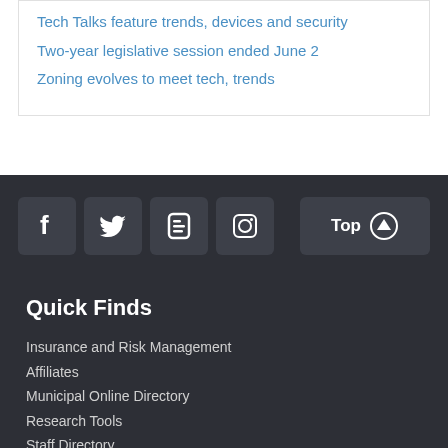Tech Talks feature trends, devices and security
Two-year legislative session ended June 2
Zoning evolves to meet tech, trends
[Figure (infographic): Social media icons: Facebook, Twitter, Blogger, Instagram; and a 'Top' scroll-up button]
Quick Finds
Insurance and Risk Management
Affiliates
Municipal Online Directory
Research Tools
Staff Directory
Media Contact
Contact Us
Municipal Association of South Carolina
1411 Gervais St., PO Box 12109
Columbia, SC 29211